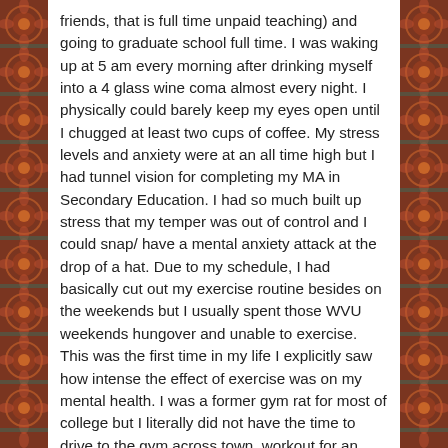friends, that is full time unpaid teaching) and going to graduate school full time. I was waking up at 5 am every morning after drinking myself into a 4 glass wine coma almost every night. I physically could barely keep my eyes open until I chugged at least two cups of coffee. My stress levels and anxiety were at an all time high but I had tunnel vision for completing my MA in Secondary Education. I had so much built up stress that my temper was out of control and I could snap/ have a mental anxiety attack at the drop of a hat. Due to my schedule, I had basically cut out my exercise routine besides on the weekends but I usually spent those WVU weekends hungover and unable to exercise. This was the first time in my life I explicitly saw how intense the effect of exercise was on my mental health. I was a former gym rat for most of college but I literally did not have the time to drive to the gym across town, workout for an hour and drive home. I needed something else. After trying Insanity once, I committed to the 60 day calendar and set off on a journey on my own in my kitchen every